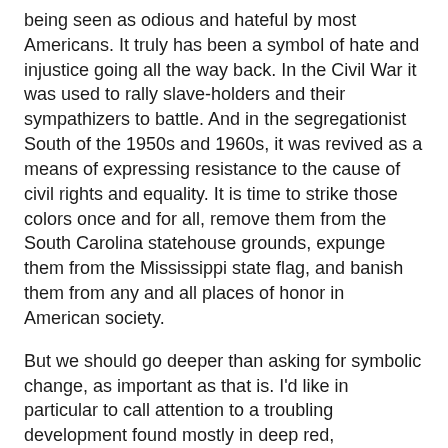being seen as odious and hateful by most Americans. It truly has been a symbol of hate and injustice going all the way back. In the Civil War it was used to rally slave-holders and their sympathizers to battle. And in the segregationist South of the 1950s and 1960s, it was revived as a means of expressing resistance to the cause of civil rights and equality. It is time to strike those colors once and for all, remove them from the South Carolina statehouse grounds, expunge them from the Mississippi state flag, and banish them from any and all places of honor in American society.
But we should go deeper than asking for symbolic change, as important as that is. I'd like in particular to call attention to a troubling development found mostly in deep red, Republican states, and that is the unholy marriage between Confederate ideology and the Second Amendment.
The bond that unites Confederate ideology and the Second Amendment is the idea of "nullification." This is the belief that the states are the ultimate arbiters of what is or is not constitutional and that the states are